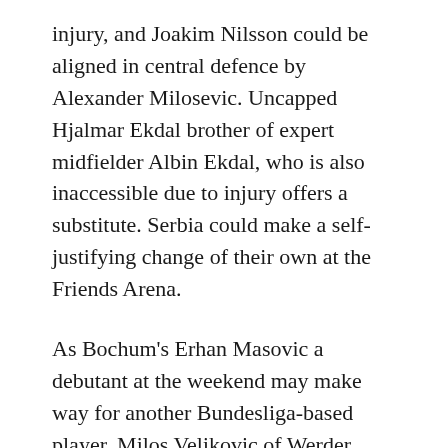injury, and Joakim Nilsson could be aligned in central defence by Alexander Milosevic. Uncapped Hjalmar Ekdal brother of expert midfielder Albin Ekdal, who is also inaccessible due to injury offers a substitute. Serbia could make a self-justifying change of their own at the Friends Arena.
As Bochum's Erhan Masovic a debutant at the weekend may make way for another Bundesliga-based player, Milos Veljkovic of Werder Bremen. With Football World Cup star striker Dusan Vlahovic sidelined for the whole of this summer's action, Serbian FIFA World Cup goal-machine Aleksandar Mitrovic will suppose to lead the visitors' line again, having counted 45 times in 73 previous international